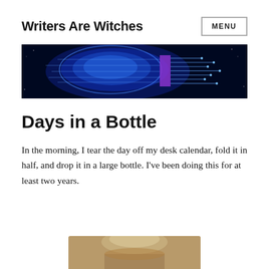Writers Are Witches
[Figure (illustration): Wide banner image of a glowing blue digital human brain with circuit board overlay patterns on a dark background, purple and blue tones]
Days in a Bottle
In the morning, I tear the day off my desk calendar, fold it in half, and drop it in a large bottle. I've been doing this for at least two years.
[Figure (photo): Partial photo of a glass bottle, cropped at bottom of page]